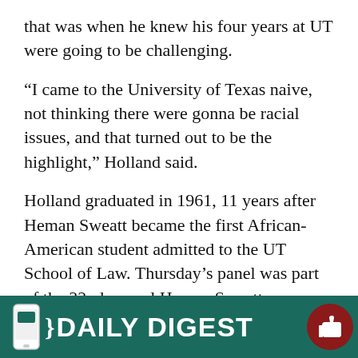that was when he knew his four years at UT were going to be challenging.
“I came to the University of Texas naive, not thinking there were gonna be racial issues, and that turned out to be the highlight,” Holland said.
Holland graduated in 1961, 11 years after Heman Sweatt became the first African-American student admitted to the UT School of Law. Thursday’s panel was part of the 32nd annual Heman Sweatt Symposium.
Martha Cotera, a Latina who attended UT-El Paso in the 1960s, said the work done by African-American activists paved the way for Latinx to join in the movement. Cotera said there were oñ... about... but w...
[Figure (other): Daily Digest promotional banner overlay at bottom of page with teal/green background, phone icon, curly brace, bold white text DAILY DIGEST, and a dark red circular thumbs-up button on the right.]